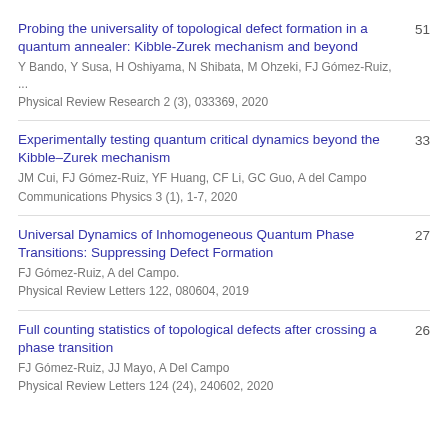Probing the universality of topological defect formation in a quantum annealer: Kibble-Zurek mechanism and beyond
Experimentally testing quantum critical dynamics beyond the Kibble–Zurek mechanism
Universal Dynamics of Inhomogeneous Quantum Phase Transitions: Suppressing Defect Formation
Full counting statistics of topological defects after crossing a phase transition